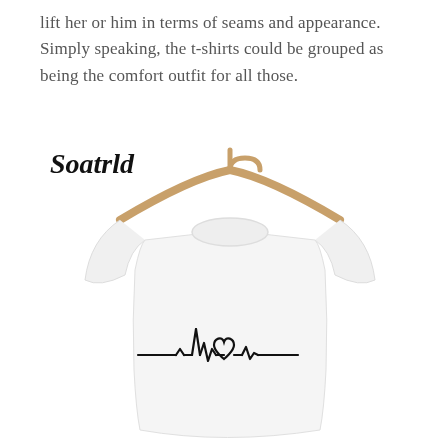lift her or him in terms of seams and appearance. Simply speaking, the t-shirts could be grouped as being the comfort outfit for all those.
Soatrld
[Figure (photo): A white t-shirt on a wooden hanger with a heartbeat/EKG line design on the chest that incorporates a heart shape. The shirt is displayed against a white background.]